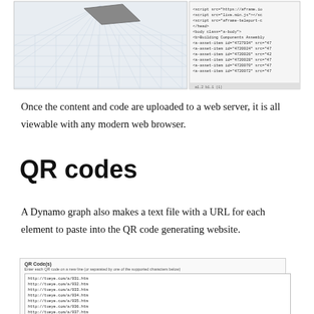[Figure (screenshot): Two side-by-side screenshots: left shows a 3D grid/scene view with a grey shape, right shows HTML/A-Frame code in a text editor with asset-item tags and script tags.]
Once the content and code are uploaded to a web server, it is all viewable with any modern web browser.
QR codes
A Dynamo graph also makes a text file with a URL for each element to paste into the QR code generating website.
[Figure (screenshot): Screenshot of a QR code generator website input box. Label reads 'QR Code(s)' with subtext 'Enter each QR code on a new line (or separated by one of the supported characters below)'. The text area contains a list of URLs: http://tueye.com/a/031.htm through http://tueye.com/a/045.htm etc.]